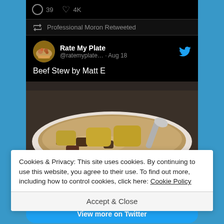[Figure (screenshot): Twitter/X app screenshot showing a retweet by 'Professional Moron' of a 'Rate My Plate' tweet saying 'Beef Stew by Matt E', with 39 comments and 4K likes, and a photo of beef stew in a white bowl with a spoon]
Cookies & Privacy: This site uses cookies. By continuing to use this website, you agree to their use. To find out more, including how to control cookies, click here: Cookie Policy
Accept & Close
View more on Twitter